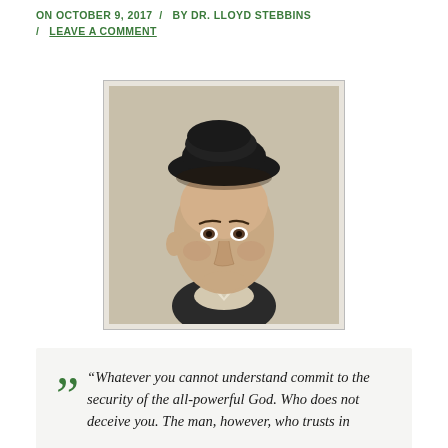ON OCTOBER 9, 2017 / BY DR. LLOYD STEBBINS / LEAVE A COMMENT
[Figure (photo): Portrait of a man wearing a dark beret-style hat and dark coat with a light collar, facing slightly to the right, painted or illustrated in a classical style.]
“Whatever you cannot understand commit to the security of the all-powerful God. Who does not deceive you. The man, however, who trusts in